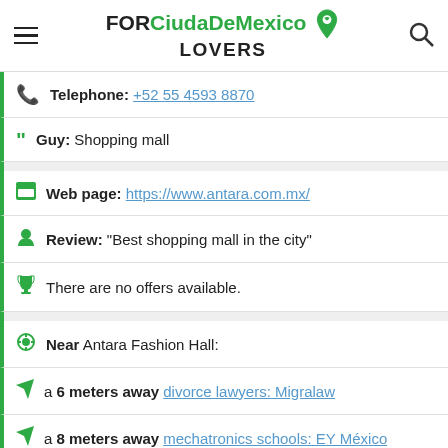FOR CiudaDeMexico LOVERS
Telephone: +52 55 4593 8870
Guy: Shopping mall
Web page: https://www.antara.com.mx/
Review: "Best shopping mall in the city"
There are no offers available.
Near Antara Fashion Hall:
a 6 meters away divorce lawyers: Migralaw
a 8 meters away mechatronics schools: EY México
Are you the owner of the business? PROMOTE IT!